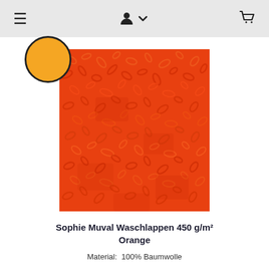Navigation bar with menu, user/account, and cart icons
[Figure (photo): Close-up photo of orange terry cloth / towel fabric texture with looped pile, bright orange-red color. An orange circle color swatch overlaps the top-left corner of the photo.]
Sophie Muval Waschlappen 450 g/m² Orange
Material:  100% Baumwolle